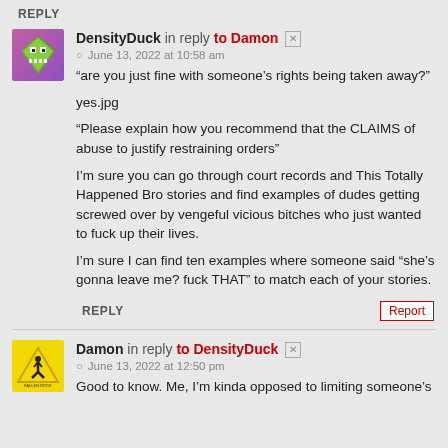REPLY
DensityDuck in reply to Damon
June 13, 2022 at 10:58 am
“are you just fine with someone’s rights being taken away?”

yes.jpg

“Please explain how you recommend that the CLAIMS of abuse to justify restraining orders”

I’m sure you can go through court records and This Totally Happened Bro stories and find examples of dudes getting screwed over by vengeful vicious bitches who just wanted to fuck up their lives.

I’m sure I can find ten examples where someone said “she’s gonna leave me? fuck THAT” to match each of your stories.
REPLY
Report
Damon in reply to DensityDuck
June 13, 2022 at 12:50 pm
Good to know. Me, I’m kinda opposed to limiting someone’s